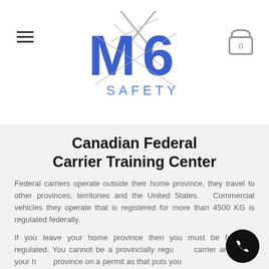[Figure (logo): M6 Safety logo with stylized M6 text and lightning bolt graphic]
Canadian Federal Carrier Training Center
Federal carriers operate outside their home province, they travel to other provinces, territories and the United States. Commercial vehicles they operate that is registered for more than 4500 KG is regulated federally.
If you leave your home province then you must be federally regulated. You cannot be a provincially regulated carrier and leave your home province on a permit as that puts you